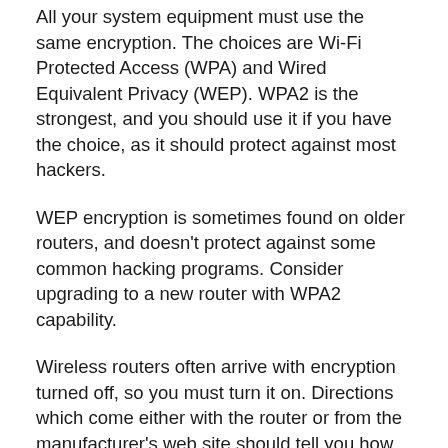All your system equipment must use the same encryption. The choices are Wi-Fi Protected Access (WPA) and Wired Equivalent Privacy (WEP). WPA2 is the strongest, and you should use it if you have the choice, as it should protect against most hackers.
WEP encryption is sometimes found on older routers, and doesn't protect against some common hacking programs. Consider upgrading to a new router with WPA2 capability.
Wireless routers often arrive with encryption turned off, so you must turn it on. Directions which come either with the router or from the manufacturer's web site should tell you how to do so.
A few simple steps should help to keep your